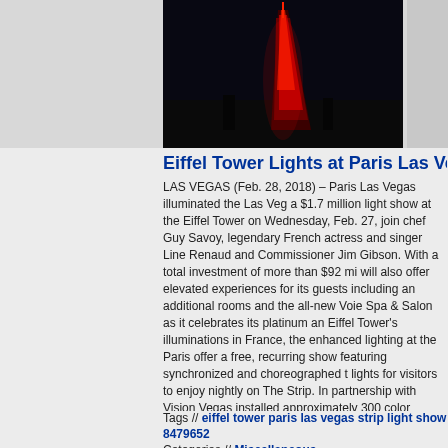[Figure (photo): Eiffel Tower illuminated in red light at night, Las Vegas]
[Figure (photo): Gray placeholder thumbnail]
[Figure (photo): Eiffel Tower illuminated in blue and white light at night, Las Vegas]
Eiffel Tower Lights at Paris Las Vegas
LAS VEGAS (Feb. 28, 2018) – Paris Las Vegas illuminated the Las Vegas a $1.7 million light show at the Eiffel Tower on Wednesday, Feb. 27, joining chef Guy Savoy, legendary French actress and singer Line Renaud and Commissioner Jim Gibson. With a total investment of more than $92 million will also offer elevated experiences for its guests including an additional rooms and the all-new Voie Spa & Salon as it celebrates its platinum anniversary. Eiffel Tower's illuminations in France, the enhanced lighting at the Paris will offer a free, recurring show featuring synchronized and choreographed lights for visitors to enjoy nightly on The Strip. In partnership with Vision, Las Vegas installed approximately 300 color washing light fixtures and more lights on the tower's exterior. Guests can enjoy the nightly light show every hour and half hour from sunset to midnight. To view the multimedia release: https://www.multivu.com/players/English/8479652-paris-las-vegas-eiffel-
Tags // eiffel tower paris las vegas strip light show casino resort 8479652
Categories // Miscellaneous
Added: 1269 days ago by MultiVuVideos
Runtime: 0m45s | Views: 486 | Comments: 0
Not yet rated
[Figure (photo): Man in suit, head and shoulders photo]
[Figure (photo): Gray placeholder thumbnail]
[Figure (photo): Gray placeholder thumbnail]